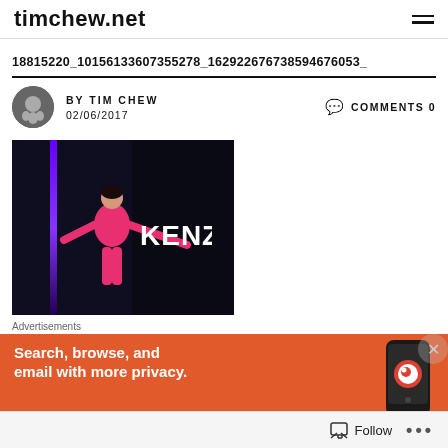timchew.net
18815220_10156133607355278_162922676738594676053_
BY TIM CHEW  02/06/2017   COMMENTS 0
[Figure (photo): A woman in a pink outfit posing with arms spread wide in front of a KENZO sign on a dark stage with a purple light bar]
Advertisements
Search, browse, and email with more privacy.